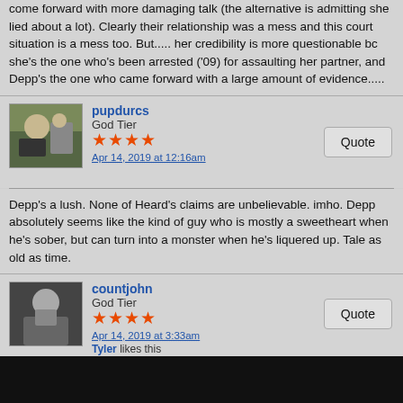come forward with more damaging talk (the alternative is admitting she lied about a lot). Clearly their relationship was a mess and this court situation is a mess too. But..... her credibility is more questionable bc she's the one who's been arrested ('09) for assaulting her partner, and Depp's the one who came forward with a large amount of evidence.....
pupdurcs
God Tier
Apr 14, 2019 at 12:16am
Depp's a lush. None of Heard's claims are unbelievable. imho. Depp absolutely seems like the kind of guy who is mostly a sweetheart when he's sober, but can turn into a monster when he's liquered up. Tale as old as time.
countjohn
God Tier
Apr 14, 2019 at 3:33am
Tyler likes this
This is turning into a shitshow. I really don't know who to believe here.
pacinoves